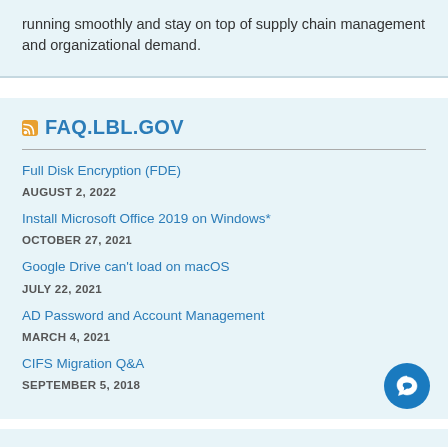running smoothly and stay on top of supply chain management and organizational demand.
FAQ.LBL.GOV
Full Disk Encryption (FDE)
AUGUST 2, 2022
Install Microsoft Office 2019 on Windows*
OCTOBER 27, 2021
Google Drive can't load on macOS
JULY 22, 2021
AD Password and Account Management
MARCH 4, 2021
CIFS Migration Q&A
SEPTEMBER 5, 2018